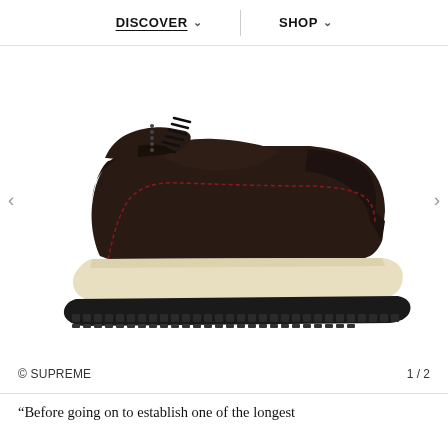DISCOVER   SHOP
[Figure (photo): Side profile of a dark brown/black leather high-top sneaker with cream/off-white midsole and black rubber outsole with serrated edges. Lace-up closure with dark laces. Red stitching detail visible along seams.]
© SUPREME   1 / 2
“Before going on to establish one of the longest